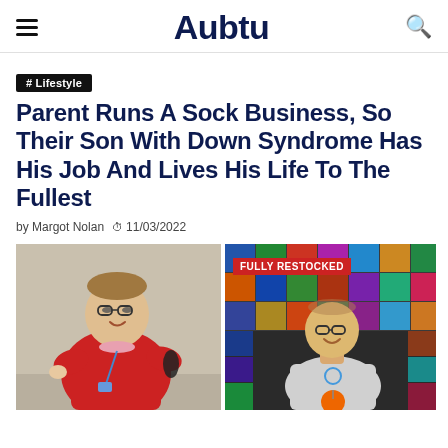Aubtu
# Lifestyle
Parent Runs A Sock Business, So Their Son With Down Syndrome Has His Job And Lives His Life To The Fullest
by Margot Nolan  11/03/2022
[Figure (photo): Two photos side by side: left photo shows a young man with Down syndrome wearing a red sweater pointing at something, smiling; right photo shows the same or similar young man in a grey shirt standing in front of a wall of colorful socks with a banner reading 'FULLY RESTOCKED']